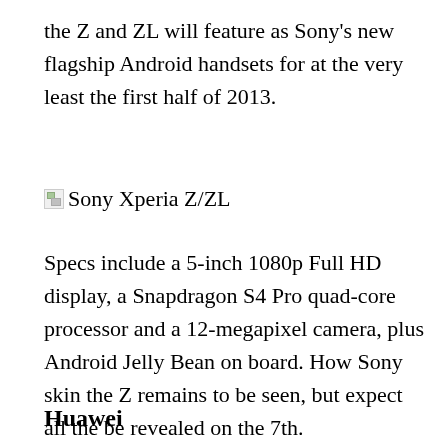the Z and ZL will feature as Sony’s new flagship Android handsets for at the very least the first half of 2013.
[Figure (illustration): Broken image placeholder with label 'Sony Xperia Z/ZL']
Specs include a 5-inch 1080p Full HD display, a Snapdragon S4 Pro quad-core processor and a 12-megapixel camera, plus Android Jelly Bean on board. How Sony skin the Z remains to be seen, but expect all the be revealed on the 7th.
Huawei